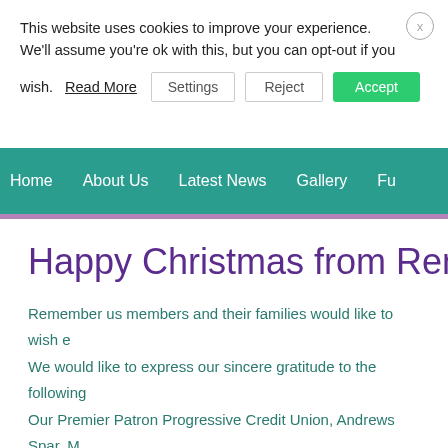This website uses cookies to improve your experience. We'll assume you're ok with this, but you can opt-out if you wish. Read More  Settings  Reject  Accept
Home  About Us  Latest News  Gallery  Fu...
Happy Christmas from Remembe...
Remember us members and their families would like to wish e...
We would like to express our sincere gratitude to the following...
Our Premier Patron Progressive Credit Union, Andrews Spar, M...
We would also like to thank Balbriggan Chamber of Commerce...
Our Fundraising Partners
The Millbank Theatre, Rush